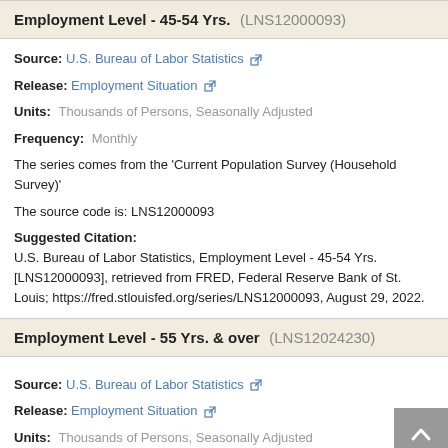Employment Level - 45-54 Yrs. (LNS12000093)
Source: U.S. Bureau of Labor Statistics
Release: Employment Situation
Units: Thousands of Persons, Seasonally Adjusted
Frequency: Monthly
The series comes from the 'Current Population Survey (Household Survey)'
The source code is: LNS12000093
Suggested Citation:
U.S. Bureau of Labor Statistics, Employment Level - 45-54 Yrs. [LNS12000093], retrieved from FRED, Federal Reserve Bank of St. Louis; https://fred.stlouisfed.org/series/LNS12000093, August 29, 2022.
Employment Level - 55 Yrs. & over (LNS12024230)
Source: U.S. Bureau of Labor Statistics
Release: Employment Situation
Units: Thousands of Persons, Seasonally Adjusted